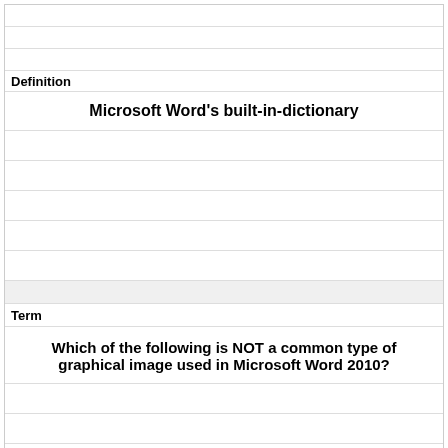Definition
Microsoft Word's built-in-dictionary
Term
Which of the following is NOT a common type of graphical image used in Microsoft Word 2010?